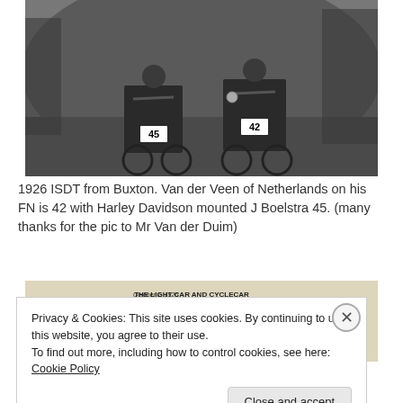[Figure (photo): Black and white photograph from the 1926 ISDT from Buxton showing two motorcycle riders on rough terrain. Rider on the left is numbered 45 (J Boelstra on Harley Davidson), rider on the right is numbered 42 (Van der Veen of Netherlands on his FN). Spectators visible in background.]
1926 ISDT from Buxton. Van der Veen of Netherlands on his FN is 42 with Harley Davidson mounted J Boelstra 45. (many thanks for the pic to Mr Van der Duim)
[Figure (screenshot): Partial view of a newspaper page titled 'THE LIGHT CAR AND CYCLECAR', dated October 1, 1926, shown in background behind cookie banner.]
Privacy & Cookies: This site uses cookies. By continuing to use this website, you agree to their use.
To find out more, including how to control cookies, see here: Cookie Policy
Close and accept